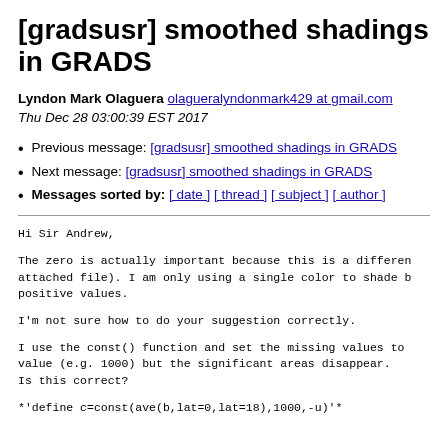[gradsusr] smoothed shadings in GRADS
Lyndon Mark Olaguera olagueralyndonmark429 at gmail.com
Thu Dec 28 03:00:39 EST 2017
Previous message: [gradsusr] smoothed shadings in GRADS
Next message: [gradsusr] smoothed shadings in GRADS
Messages sorted by: [ date ] [ thread ] [ subject ] [ author ]
Hi Sir Andrew,
The zero is actually important because this is a different
attached file). I am only using a single color to shade b
positive values.
I'm not sure how to do your suggestion correctly.
I use the const() function and set the missing values to
value (e.g. 1000) but the significant areas disappear.
Is this correct?
*'define c=const(ave(b,lat=0,lat=18),1000,-u)'*